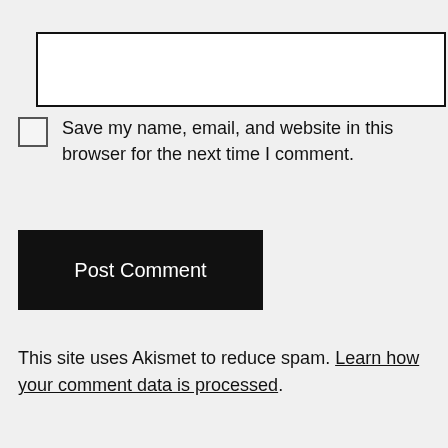[Figure (other): Empty text input field with black border]
Save my name, email, and website in this browser for the next time I comment.
Post Comment
This site uses Akismet to reduce spam. Learn how your comment data is processed.